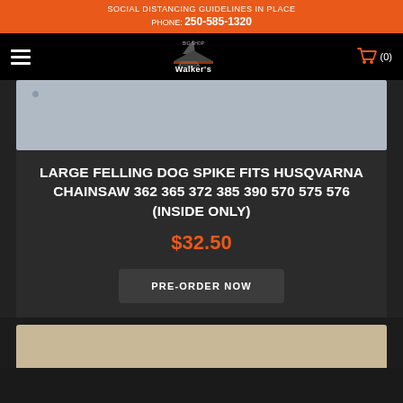SOCIAL DISTANCING GUIDELINES IN PLACE
PHONE: 250-585-1320
[Figure (logo): Walker's Big Shop logo with tree/cabin silhouette and orange cart icon]
[Figure (photo): Product image placeholder - grey/blue background with a small dot, likely showing a felling dog spike]
LARGE FELLING DOG SPIKE FITS HUSQVARNA CHAINSAW 362 365 372 385 390 570 575 576 (INSIDE ONLY)
$32.50
PRE-ORDER NOW
[Figure (photo): Partial product photo at bottom, warm beige/tan background]